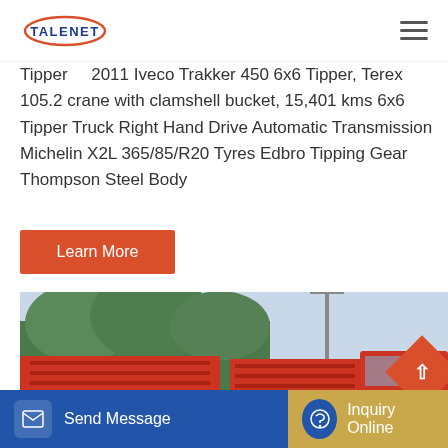TALENET [logo]
Tipper ... 2011 Iveco Trakker 450 6x6 Tipper, Terex 105.2 crane with clamshell bucket, 15,401 kms 6x6 Tipper Truck Right Hand Drive Automatic Transmission Michelin X2L 365/85/R20 Tyres Edbro Tipping Gear Thompson Steel Body
Learn More
[Figure (photo): Red tipper dump truck photographed outdoors with trees and utility poles in background]
Send Message
Inquiry Online